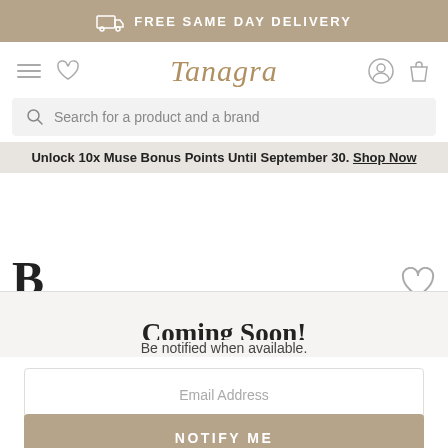FREE SAME DAY DELIVERY
[Figure (screenshot): Tanagra website navigation bar with hamburger menu, heart icon, Tanagra logo, user account icon, and shopping bag icon]
Search for a product and a brand
Unlock 10x Muse Bonus Points Until September 30. Shop Now
Coming Soon!
Be notified when available.
Email Address
NOTIFY ME